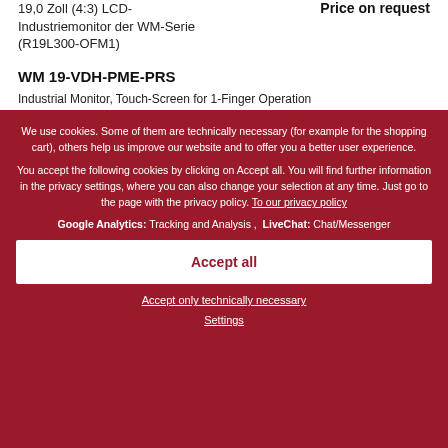19,0 Zoll (4:3) LCD-Industriemonitor der WM-Serie (R19L300-OFM1)
Price on request
WM 19-VDH-PME-PRS
Industrial Monitor, Touch-Screen for 1-Finger Operation
We use cookies. Some of them are technically necessary (for example for the shopping cart), others help us improve our website and to offer you a better user experience.
You accept the following cookies by clicking on Accept all. You will find further information in the privacy settings, where you can also change your selection at any time. Just go to the page with the privacy policy. To our privacy policy
Google Analytics: Tracking and Analysis ,  LiveChat: Chat/Messenger
Accept all
Accept only technically necessary
Settings